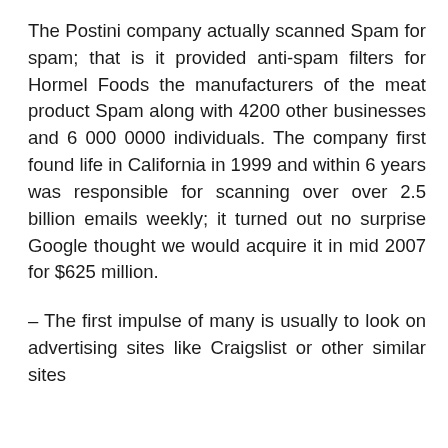The Postini company actually scanned Spam for spam; that is it provided anti-spam filters for Hormel Foods the manufacturers of the meat product Spam along with 4200 other businesses and 6 000 0000 individuals. The company first found life in California in 1999 and within 6 years was responsible for scanning over over 2.5 billion emails weekly; it turned out no surprise Google thought we would acquire it in mid 2007 for $625 million.
– The first impulse of many is usually to look on advertising sites like Craigslist or other similar sites